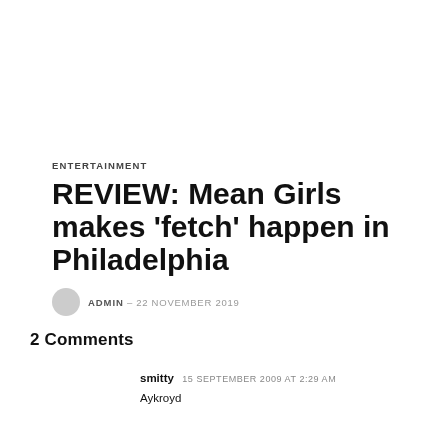ENTERTAINMENT
REVIEW: Mean Girls makes 'fetch' happen in Philadelphia
ADMIN – 22 NOVEMBER 2019
2 COMMENTS
smitty 15 SEPTEMBER 2009 AT 2:29 AM
Aykroyd